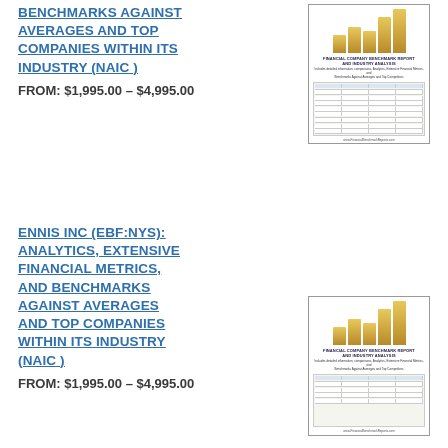BENCHMARKS AGAINST AVERAGES AND TOP COMPANIES WITHIN ITS INDUSTRY (NAIC)
FROM: $1,995.00 – $4,995.00
[Figure (other): Thumbnail image of a financial benchmark report cover with gold bar chart and data table]
ENNIS INC (EBF:NYS): ANALYTICS, EXTENSIVE FINANCIAL METRICS, AND BENCHMARKS AGAINST AVERAGES AND TOP COMPANIES WITHIN ITS INDUSTRY (NAIC)
FROM: $1,995.00 – $4,995.00
[Figure (other): Thumbnail image of a financial benchmark report cover with gold bar chart and data table]